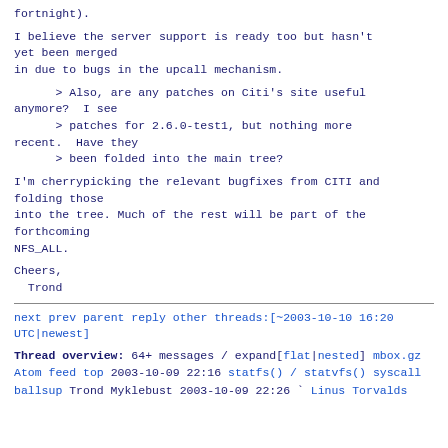fortnight).
I believe the server support is ready too but hasn't yet been merged
in due to bugs in the upcall mechanism.
> Also, are any patches on Citi's site useful anymore?  I see
      > patches for 2.6.0-test1, but nothing more recent.  Have they
      > been folded into the main tree?
I'm cherrypicking the relevant bugfixes from CITI and folding those
into the tree. Much of the rest will be part of the forthcoming
NFS_ALL.
Cheers,
  Trond
next prev parent reply  other threads:[~2003-10-10 16:20 UTC|newest]
Thread overview: 64+ messages / expand[flat|nested]
mbox.gz  Atom feed  top
2003-10-09 22:16 statfs() / statvfs() syscall ballsup
Trond Myklebust
2003-10-09 22:26 ` Linus Torvalds